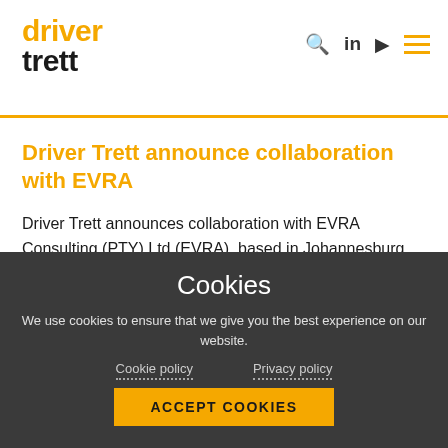[Figure (logo): Driver Trett logo with 'driver' in orange and 'trett' in black, bold sans-serif]
Driver Trett announce collaboration with EVRA
Driver Trett announces collaboration with EVRA Consulting (PTY) Ltd (EVRA), based in Johannesburg, South Africa
Cookies
We use cookies to ensure that we give you the best experience on our website.
Cookie policy    Privacy policy
ACCEPT COOKIES